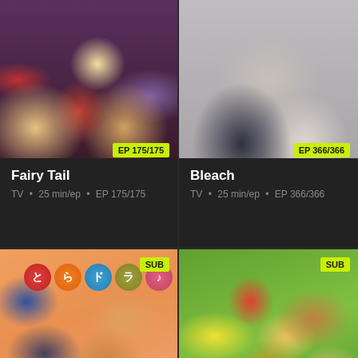[Figure (illustration): Fairy Tail anime group poster showing multiple colorful characters on dark background with EP 175/175 badge]
Fairy Tail
TV • 25 min/ep • EP 175/175
[Figure (illustration): Bleach anime poster showing characters in black and white clothing with EP 366/366 badge]
Bleach
TV • 25 min/ep • EP 366/366
[Figure (illustration): Toradora anime poster with orange background showing two main characters and Japanese logo circles, SUB badge]
[Figure (illustration): Dragon Ball anime group poster with green background showing many characters, SUB badge]